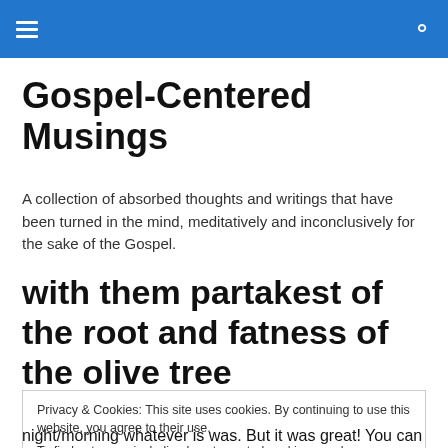Gospel-Centered Musings navigation header
Gospel-Centered Musings
A collection of absorbed thoughts and writings that have been turned in the mind, meditatively and inconclusively for the sake of the Gospel.
with them partakest of the root and fatness of the olive tree
Privacy & Cookies: This site uses cookies. By continuing to use this website, you agree to their use.
To find out more, including how to control cookies, see here: Cookie Policy
night/morning whatever is was. But it was great! You can